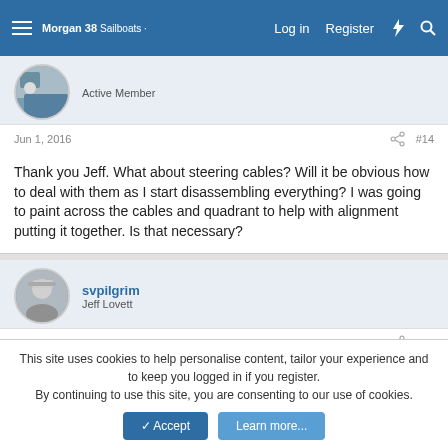Morgan 38 Sailboats · Log in   Register
Active Member
Jun 1, 2016   #14
Thank you Jeff. What about steering cables? Will it be obvious how to deal with them as I start disassembling everything? I was going to paint across the cables and quadrant to help with alignment putting it together. Is that necessary?
svpilgrim
Jeff Lovett
Jun 1, 2016   #15
This site uses cookies to help personalise content, tailor your experience and to keep you logged in if you register.
By continuing to use this site, you are consenting to our use of cookies.